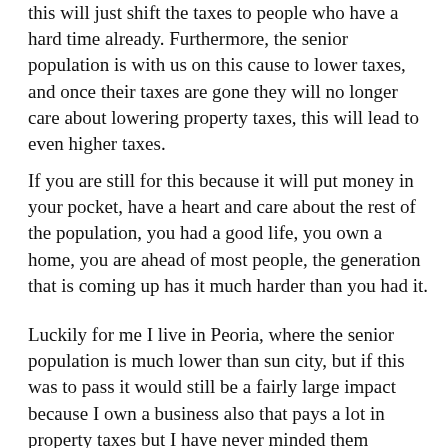this will just shift the taxes to people who have a hard time already.  Furthermore, the senior population is with us on this cause to lower taxes, and once their taxes are gone they will no longer care about lowering property taxes, this will lead to even higher taxes.
If you are still for this because it will put money in your pocket, have a heart and care about the rest of the population, you had a good life, you own a home, you are ahead of most people, the generation that is coming up has it much harder than you had it.
Luckily for me I live in Peoria, where the senior population is much lower than sun city, but if this was to pass it would still be a fairly large impact because I own a business also that pays a lot in property taxes but I have never minded them because I see where the money goes and those are things that I support.  But I don't want to pay more than my fair share.